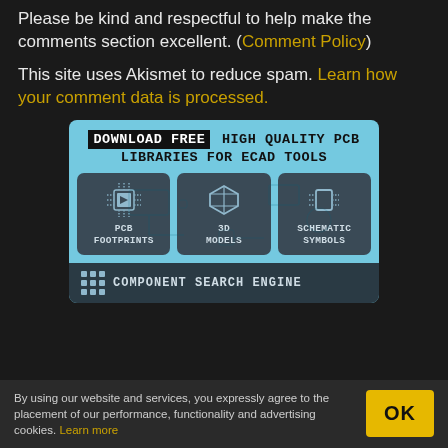Please be kind and respectful to help make the comments section excellent. (Comment Policy)
This site uses Akismet to reduce spam. Learn how your comment data is processed.
[Figure (infographic): Advertisement banner for PCB library download. Light blue background with text: DOWNLOAD FREE HIGH QUALITY PCB LIBRARIES FOR ECAD TOOLS. Three dark cards showing: PCB FOOTPRINTS (chip icon), 3D MODELS (cube icon), SCHEMATIC SYMBOLS (chip icon). Bottom strip: COMPONENT SEARCH ENGINE with grid icon.]
By using our website and services, you expressly agree to the placement of our performance, functionality and advertising cookies. Learn more